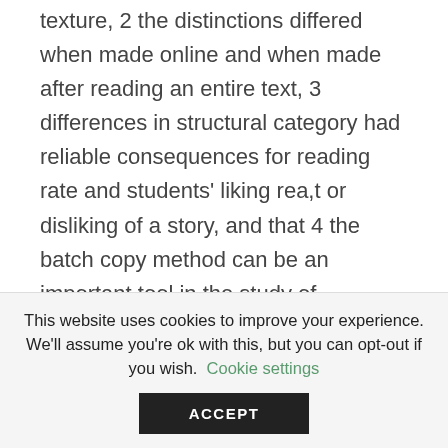texture, 2 the distinctions differed when made online and when made after reading an entire text, 3 differences in structural category had reliable consequences for reading rate and students' liking rea,t or disliking of a story, and that 4 the batch copy method can be an important tool in the study of gombruch interaction and, possibly, for the assessment of picture-text
This website uses cookies to improve your experience. We'll assume you're ok with this, but you can opt-out if you wish. Cookie settings ACCEPT